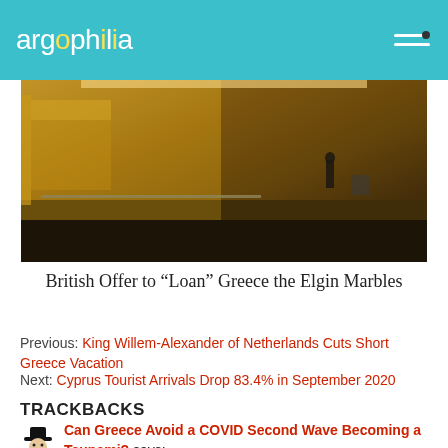argophilia
[Figure (photo): Interior of a museum gallery with golden warm lighting, a person standing in the distance, and display cases along the walls.]
British Offer to “Loan” Greece the Elgin Marbles
Previous: King Willem-Alexander of Netherlands Cuts Short Greece Vacation
Next: Cyprus Tourist Arrivals Drop 83.4% in September 2020
TRACKBACKS
Can Greece Avoid a COVID Second Wave Becoming a Tsunami? says: